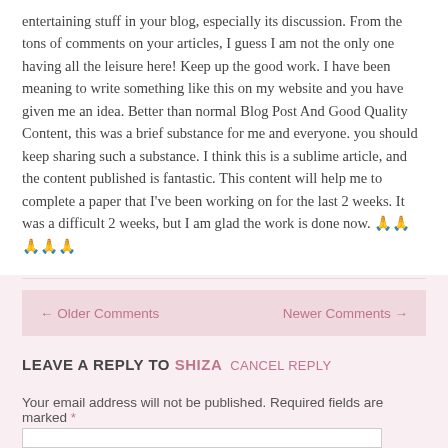entertaining stuff in your blog, especially its discussion. From the tons of comments on your articles, I guess I am not the only one having all the leisure here! Keep up the good work. I have been meaning to write something like this on my website and you have given me an idea. Better than normal Blog Post And Good Quality Content, this was a brief substance for me and everyone. you should keep sharing such a substance. I think this is a sublime article, and the content published is fantastic. This content will help me to complete a paper that I've been working on for the last 2 weeks. It was a difficult 2 weeks, but I am glad the work is done now. 🙏🙏🙏🙏🙏
← Older Comments    Newer Comments →
LEAVE A REPLY TO SHIZA   CANCEL REPLY
Your email address will not be published. Required fields are marked *